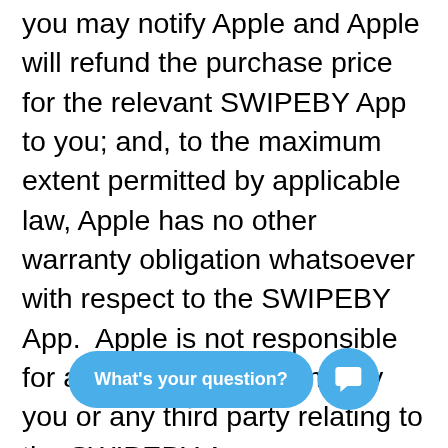you may notify Apple and Apple will refund the purchase price for the relevant SWIPEBY App to you; and, to the maximum extent permitted by applicable law, Apple has no other warranty obligation whatsoever with respect to the SWIPEBY App.  Apple is not responsible for addressing any claims by you or any third party relating to the SWIPEBY App or your possession and/or use of the SWIPEBY App, including, but not limited to:  (A) product liability claims; (B) any claim that the SWIPEBY App fails to conform to any applicable legal or regulatory requirement; and (C) claims arising under consumer protection or similar legislation. Apple is not responsible for the investigation, defense, settlement, and discharge of any third party claim that the SWIPEBY App or your possession and use of the App infringes that third party's intellectual property rights.  You agree to comply with a[...]er[...]n using the SWIPEBY App. Apple, and Apple's subs[...], are third party beneficiaries of these Terms, and upon your
[Figure (other): Chat widget overlay with blue rounded pill button labeled 'What's your question?' and a circular chat icon button]